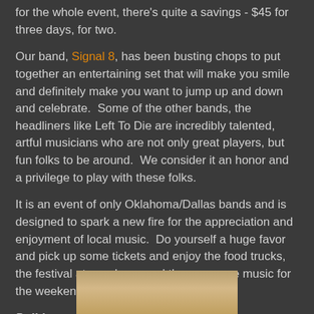for the whole event, there's quite a savings - $45 for three days, for two.
Our band, Signal 8, has been busting chops to put together an entertaining set that will make you smile and definitely make you want to jump up and down and celebrate.  Some of the other bands, the headliners like Left To Die are incredibly talented, artful musicians who are not only great players, but fun folks to be around.  We consider it an honor and a privilege to play with these folks.
It is an event of only Oklahoma/Dallas bands and is designed to spark a new fire for the appreciation and enjoyment of local music.  Do yourself a huge favor and pick up some tickets and enjoy the food trucks, the festival atmosphere, and the awesome music for the weekend.
Politics
Trump.  Donald Trump.  Wow.  Enough said.
[Figure (photo): A partial photo of a person visible at the bottom of the page]